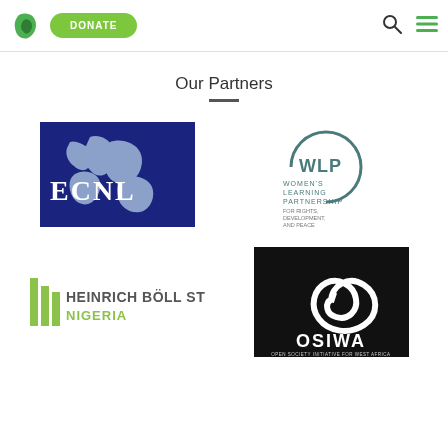[Figure (logo): Green leaf/map Nigeria logo icon]
[Figure (logo): DONATE green button]
[Figure (logo): Search icon]
[Figure (logo): Hamburger menu icon in green]
Our Partners
[Figure (logo): ECNL logo - blue rectangle with map of Europe and text ECNL]
[Figure (logo): WLP - Women's Learning Partnership for Rights, Development, and Peace logo]
[Figure (logo): Heinrich Böll Stiftung Nigeria logo with olive green bars]
[Figure (logo): OSIWA - Open Society Initiative for West Africa logo with spiral on black background]